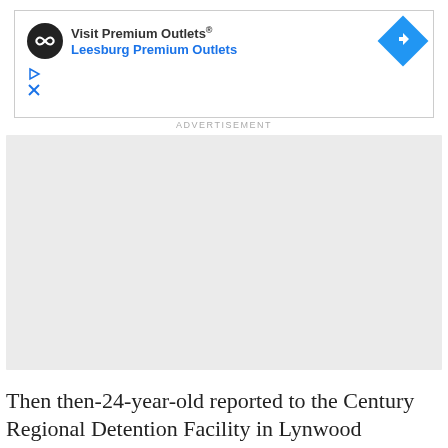[Figure (screenshot): Advertisement banner for Visit Premium Outlets / Leesburg Premium Outlets with logo circle, blue text links, navigation diamond icon, play and close icons]
ADVERTISEMENT
[Figure (other): Gray placeholder rectangle for an advertisement image]
Then then-24-year-old reported to the Century Regional Detention Facility in Lynwood